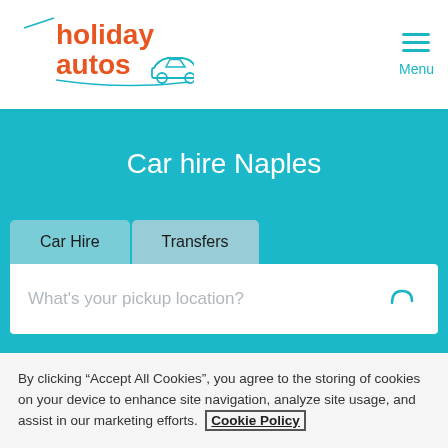[Figure (logo): Holiday Autos logo with orange text and teal car outline illustration]
Car hire Naples
Car Hire
Transfers
What's your pickup location?
By clicking “Accept All Cookies”, you agree to the storing of cookies on your device to enhance site navigation, analyze site usage, and assist in our marketing efforts. Cookie Policy